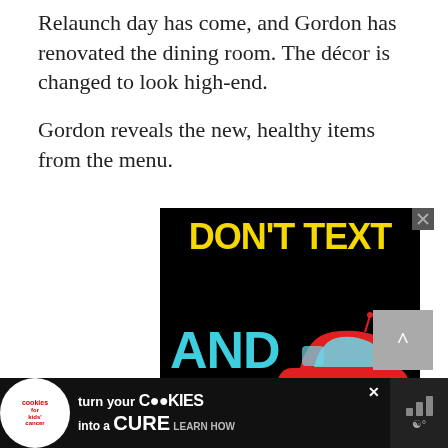Relaunch day has come, and Gordon has renovated the dining room. The décor is changed to look high-end.
Gordon reveals the new, healthy items from the menu.
[Figure (infographic): Advertisement on black background with yellow bold text 'DON'T TEXT' and cyan bold text 'AND' with a red cartoon car illustration]
[Figure (infographic): Cookies for Kids' Cancer banner ad at the bottom: 'turn your COOKIES into a CURE LEARN HOW' with close button]